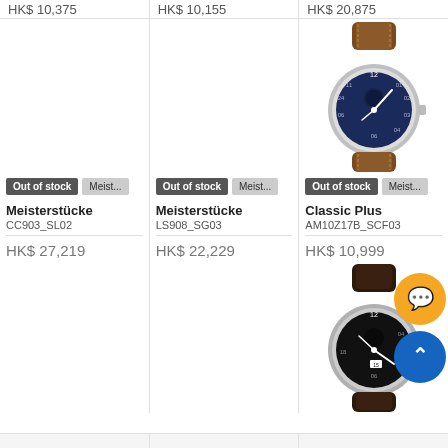HK$ 10,375 | HK$ 10,155 | HK$ 20,875
[Figure (photo): Watch with blue dial and brown leather strap (third column, top row)]
Out of stock  Meist...
Out of stock  Meist...
Out of stock  Meist...
Meisterstücke
CC903_SL02
Meisterstücke
LS908_SG03
Classic Plus
AM10Z17B_SCF03
HK$ 27,219
HK$ 22,229
HK$ 10,999
[Figure (photo): Watch with black dial and dark brown leather strap (third column, bottom row)]